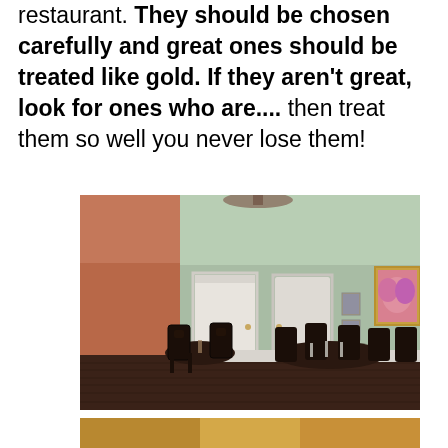restaurant. They should be chosen carefully and great ones should be treated like gold. If they aren't great, look for ones who are.... then treat them so well you never lose them!
[Figure (photo): Interior of a restaurant dining room with sage green walls, dark wood floors, dark wooden chairs around tables, white doors, and a framed floral painting on the wall.]
[Figure (photo): Partial view of another photo at the bottom of the page, showing a warm-toned scene.]